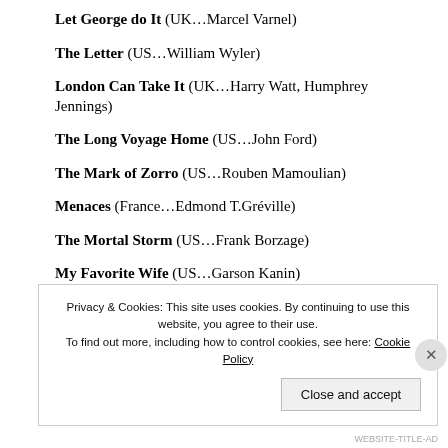Let George do It (UK...Marcel Varnel)
The Letter (US...William Wyler)
London Can Take It (UK...Harry Watt, Humphrey Jennings)
The Long Voyage Home (US...John Ford)
The Mark of Zorro (US...Rouben Mamoulian)
Menaces (France...Edmond T.Gréville)
The Mortal Storm (US...Frank Borzage)
My Favorite Wife (US...Garson Kanin)
My Universities (USSR...Mark Donskoi)
Privacy & Cookies: This site uses cookies. By continuing to use this website, you agree to their use. To find out more, including how to control cookies, see here: Cookie Policy
WEBSITE-TITLE-AD